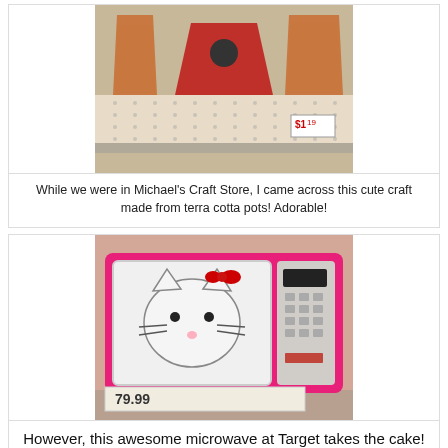[Figure (photo): Terra cotta pots on a pegboard shelf at Michael's Craft Store, with a red pot in the center that has a dark circular dot on it, resembling a ladybug or decorative craft. A price tag showing $1.19 is visible.]
While we were in Michael's Craft Store, I came across this cute craft made from terra cotta pots!  Adorable!
[Figure (photo): A pink Hello Kitty themed microwave oven displayed on a shelf at Target, with a price tag showing 79.99.]
However, this awesome microwave at Target takes the cake!  Isn't this adorable??  I wonder how much